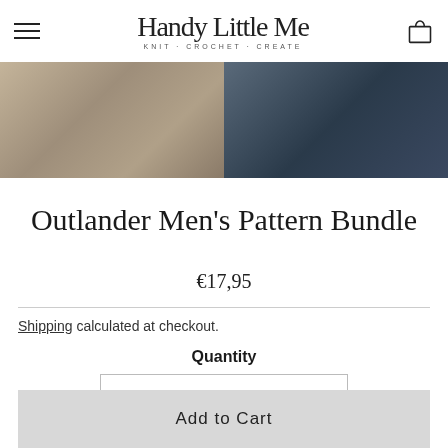Handy Little Me — KNIT · CROCHET · CREATE
[Figure (photo): Two-panel hero image: left panel shows close-up of chunky knit cable sweater in beige/tan tones; right panel shows a person wearing the sweater with dark jeans outdoors.]
Outlander Men's Pattern Bundle
€17,95
Shipping calculated at checkout.
Quantity
- 1 +
Add to Cart